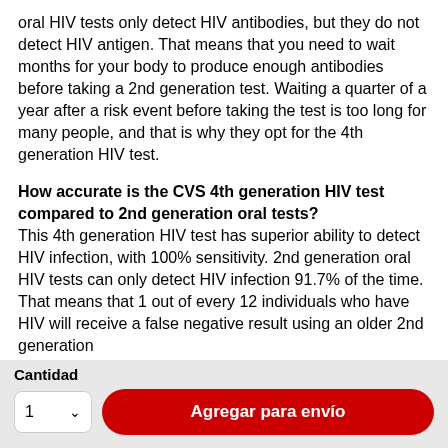oral HIV tests only detect HIV antibodies, but they do not detect HIV antigen. That means that you need to wait months for your body to produce enough antibodies before taking a 2nd generation test. Waiting a quarter of a year after a risk event before taking the test is too long for many people, and that is why they opt for the 4th generation HIV test.
How accurate is the CVS 4th generation HIV test compared to 2nd generation oral tests?
This 4th generation HIV test has superior ability to detect HIV infection, with 100% sensitivity. 2nd generation oral HIV tests can only detect HIV infection 91.7% of the time. That means that 1 out of every 12 individuals who have HIV will receive a false negative result using an older 2nd generation
Cantidad
1  ∨   Agregar para envío